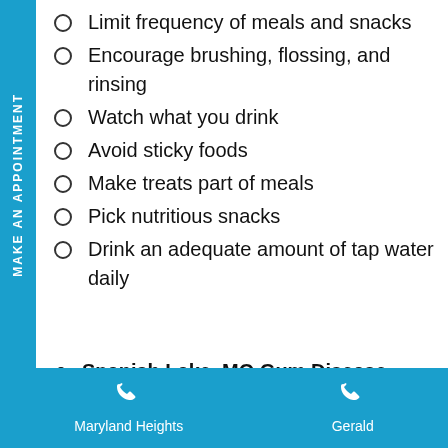Limit frequency of meals and snacks
Encourage brushing, flossing, and rinsing
Watch what you drink
Avoid sticky foods
Make treats part of meals
Pick nutritious snacks
Drink an adequate amount of tap water daily
Spanish Lake, MO Gum Disease
Maryland Heights | Gerald